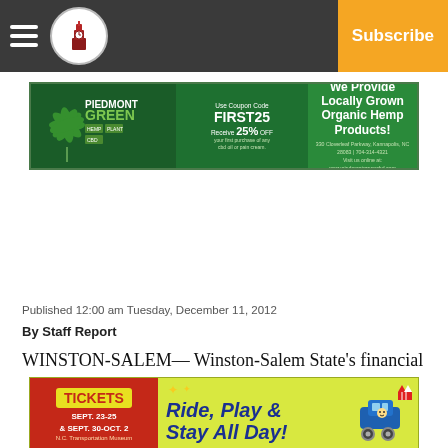Navigation bar with hamburger menu, logo, Facebook icon, Twitter icon, Subscribe button
[Figure (advertisement): Piedmont Green CBD advertisement: Use Coupon Code FIRST25, Receive 25% OFF your first purchase of any cbd oil or pain cream. We Provide Locally Grown Organic Hemp Products! 330 Cloverleaf Parkway, Kannapolis, NC 28083 | 704-314-4321 | Visit us online at: www.piedmontgreencbd.com]
Published 12:00 am Tuesday, December 11, 2012
By Staff Report
WINSTON-SALEM— Winston-Salem State's financial
[Figure (advertisement): Tickets advertisement: Ride, Play & Stay All Day! SEPT. 23-25 & SEPT. 30-OCT. 2, N.C. Transportation Museum]